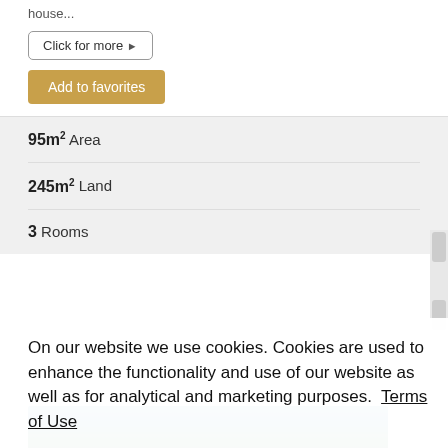house...
Click for more ▶
Add to favorites
95m² Area
245m² Land
3 Rooms
On our website we use cookies. Cookies are used to enhance the functionality and use of our website as well as for analytical and marketing purposes.  Terms of Use
I accept Cookies
[Figure (photo): Landscape/coastal photo visible at bottom of page]